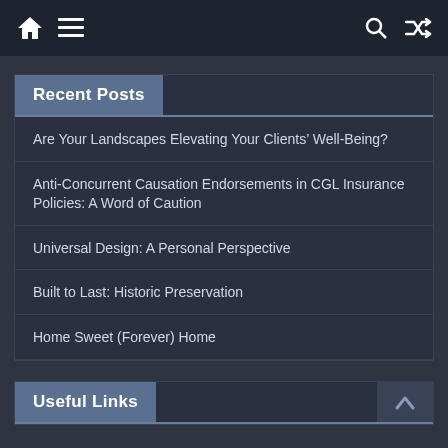Navigation bar with home, menu, search, and shuffle icons
Recent Posts
Are Your Landscapes Elevating Your Clients’ Well-Being?
Anti-Concurrent Causation Endorsements in CGL Insurance Policies: A Word of Caution
Universal Design: A Personal Perspective
Built to Last: Historic Preservation
Home Sweet (Forever) Home
Useful Links